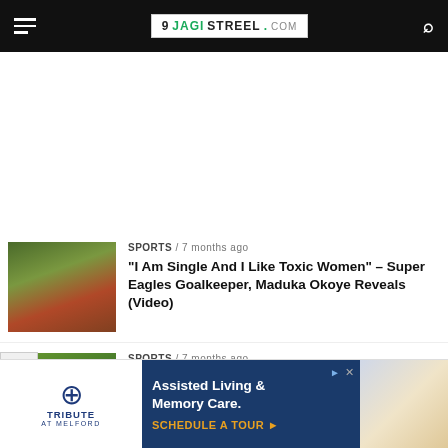9JAGISTREEL.COM
[Figure (photo): Thumbnail of Super Eagles footballer Maduka Okoye]
SPORTS / 7 months ago
“I Am Single And I Like Toxic Women” – Super Eagles Goalkeeper, Maduka Okoye Reveals (Video)
[Figure (photo): Thumbnail of NFF officials including Eguavoen]
SPORTS / 7 months ago
AFCON2021: “Eguavoen Is Only Entitled To Match Bonuses, Won’t Earn Salary” – NFF
[Figure (photo): Advertisement banner for Tribute at Melford Assisted Living & Memory Care with schedule a tour call to action]